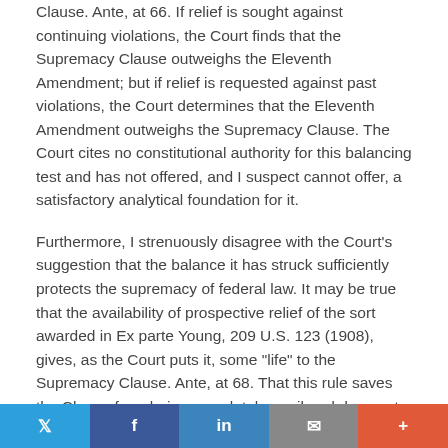Clause. Ante, at 66. If relief is sought against continuing violations, the Court finds that the Supremacy Clause outweighs the Eleventh Amendment; but if relief is requested against past violations, the Court determines that the Eleventh Amendment outweighs the Supremacy Clause. The Court cites no constitutional authority for this balancing test and has not offered, and I suspect cannot offer, a satisfactory analytical foundation for it.
Furthermore, I strenuously disagree with the Court's suggestion that the balance it has struck sufficiently protects the supremacy of federal law. It may be true that the availability of prospective relief of the sort awarded in Ex parte Young, 209 U.S. 123 (1908), gives, as the Court puts it, some "life" to the Supremacy Clause. Ante, at 68. That this rule saves the Clause from being completely moribund does not, however, alter the reality that it is insufficient to ensure
Twitter | Facebook | LinkedIn | Email | More